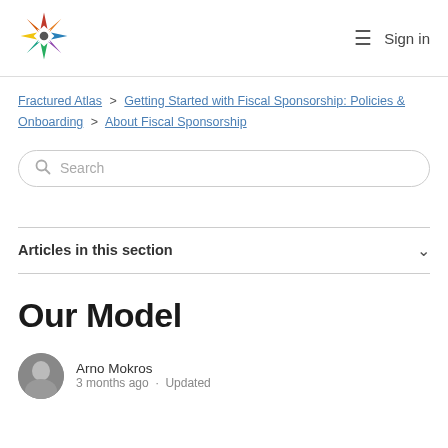Fractured Atlas — Sign in
Fractured Atlas > Getting Started with Fiscal Sponsorship: Policies & Onboarding > About Fiscal Sponsorship
Search
Articles in this section
Our Model
Arno Mokros
3 months ago · Updated